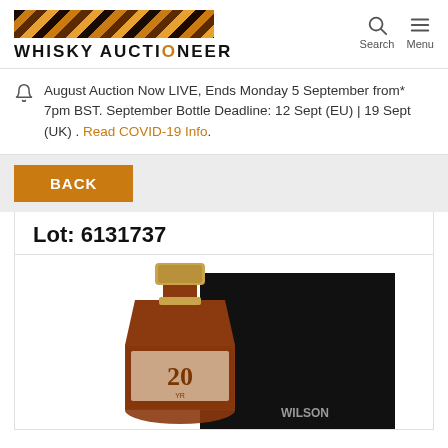WHISKY AUCTIONEER
August Auction Now LIVE, Ends Monday 5 September from* 7pm BST. September Bottle Deadline: 12 Sept (EU) | 19 Sept (UK) . Read COVID-19 Info.
BACK
Lot: 6131737
[Figure (photo): Photo of a whisky bottle with gold cap labeled '20' and a black box with text 'WILSON' visible in the background]